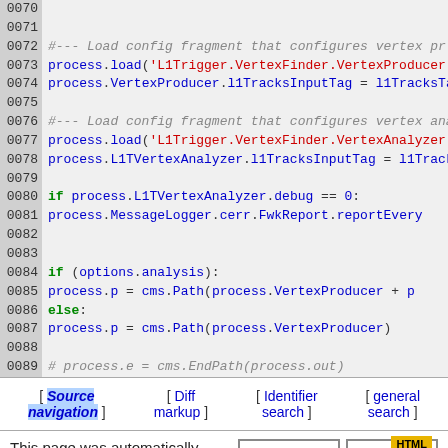[Figure (screenshot): Source code listing showing Python/CMS configuration script lines 0070-0089 with syntax highlighting. Lines show process.load calls for L1Trigger VertexFinder, process.VertexProducer and L1TVertexAnalyzer configuration, conditional if/else block for options.analysis, and a commented EndPath line.]
[ Source navigation ] [ Diff markup ] [ Identifier search ] [ general search ]
This page was automatically generated by the 2.2.1 LXR engine. The LXR team